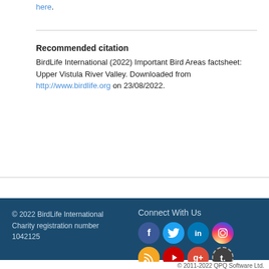here.
Recommended citation
BirdLife International (2022) Important Bird Areas factsheet: Upper Vistula River Valley. Downloaded from http://www.birdlife.org on 23/08/2022.
[Figure (infographic): Footer with social media icons: Facebook, Twitter, LinkedIn, Instagram, RSS, YouTube, Google+, Tumblr on dark blue background]
© 2022 BirdLife International Charity registration number 1042125
© 2011-2022 QPQ Software Ltd.